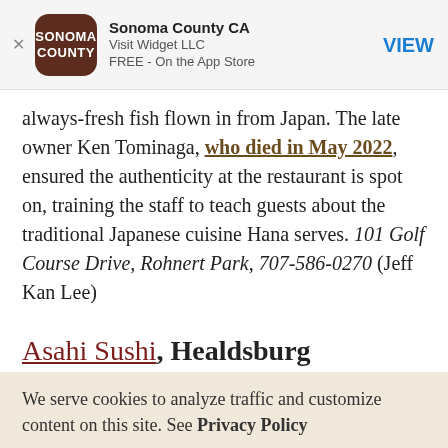[Figure (screenshot): App store banner for Sonoma County CA app by Visit Widget LLC, free on the App Store, with VIEW button]
always-fresh fish flown in from Japan. The late owner Ken Tominaga, who died in May 2022, ensured the authenticity at the restaurant is spot on, training the staff to teach guests about the traditional Japanese cuisine Hana serves. 101 Golf Course Drive, Rohnert Park, 707-586-0270 (Jeff Kan Lee)
Asahi Sushi, Healdsburg
We serve cookies to analyze traffic and customize content on this site. See Privacy Policy